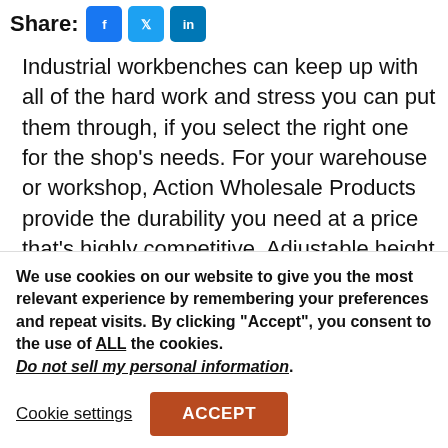Share:
Industrial workbenches can keep up with all of the hard work and stress you can put them through, if you select the right one for the shop's needs. For your warehouse or workshop, Action Wholesale Products provide the durability you need at a price that's highly competitive. Adjustable height workbenches and our Rivet System workbenches are powerhouses capable of helping you to get the
We use cookies on our website to give you the most relevant experience by remembering your preferences and repeat visits. By clicking “Accept”, you consent to the use of ALL the cookies. Do not sell my personal information.
Cookie settings   ACCEPT